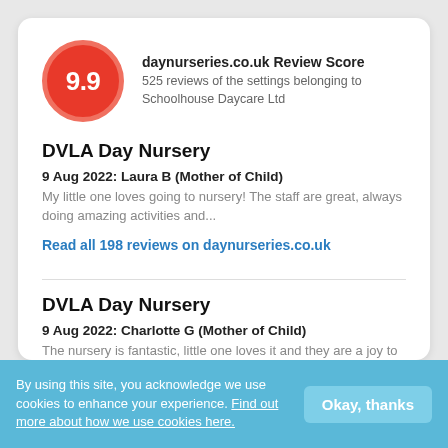[Figure (other): Red circle badge showing score 9.9]
daynurseries.co.uk Review Score
525 reviews of the settings belonging to Schoolhouse Daycare Ltd
DVLA Day Nursery
9 Aug 2022: Laura B (Mother of Child)
My little one loves going to nursery! The staff are great, always doing amazing activities and...
Read all 198 reviews on daynurseries.co.uk
DVLA Day Nursery
9 Aug 2022: Charlotte G (Mother of Child)
The nursery is fantastic, little one loves it and they are a joy to deal with. They seem to do a...
By using this site, you acknowledge we use cookies to enhance your experience. Find out more about how we use cookies here.